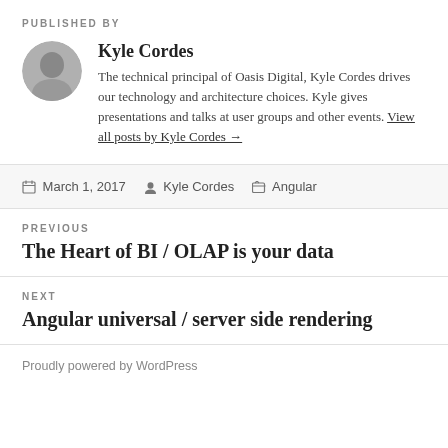PUBLISHED BY
Kyle Cordes
The technical principal of Oasis Digital, Kyle Cordes drives our technology and architecture choices. Kyle gives presentations and talks at user groups and other events. View all posts by Kyle Cordes →
March 1, 2017   Kyle Cordes   Angular
PREVIOUS
The Heart of BI / OLAP is your data
NEXT
Angular universal / server side rendering
Proudly powered by WordPress